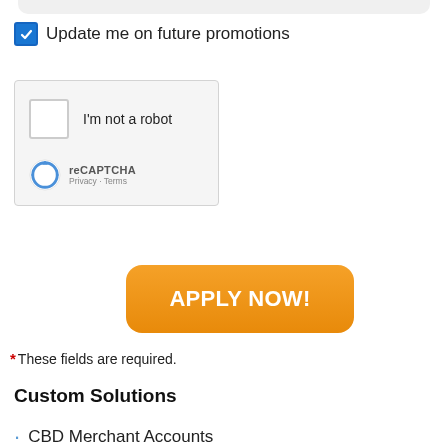Update me on future promotions
[Figure (screenshot): reCAPTCHA widget with unchecked checkbox, reCAPTCHA logo, Privacy and Terms links]
APPLY NOW!
* These fields are required.
Custom Solutions
CBD Merchant Accounts